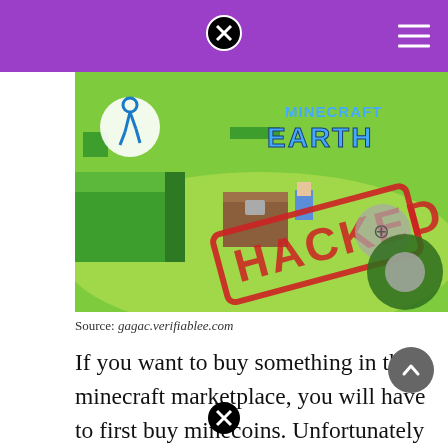[Figure (screenshot): Minecraft Earth game screenshot with a red HACKED stamp overlaid on the gameplay image showing blocky 3D environment with trees, a chest, character, and game UI controls]
Source: gagac.verifiablee.com
If you want to buy something in the minecraft marketplace, you will have to first buy minecoins. Unfortunately there's no way of doing so, but you could get the pc version and be able to download any maps.